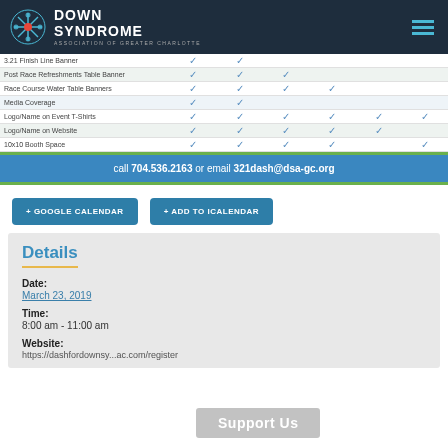DOWN SYNDROME ASSOCIATION OF GREATER CHARLOTTE
|  |  |  |  |  |  |  |
| --- | --- | --- | --- | --- | --- | --- |
| 3.21 Finish Line Banner | ✓ | ✓ |  |  |  |  |
| Post Race Refreshments Table Banner | ✓ | ✓ | ✓ |  |  |  |
| Race Course Water Table Banners | ✓ | ✓ | ✓ | ✓ |  |  |
| Media Coverage | ✓ | ✓ |  |  |  |  |
| Logo/Name on Event T-Shirts | ✓ | ✓ | ✓ | ✓ | ✓ | ✓ |
| Logo/Name on Website | ✓ | ✓ | ✓ | ✓ | ✓ |  |
| 10x10 Booth Space | ✓ | ✓ | ✓ | ✓ |  | ✓ |
call 704.536.2163 or email 321dash@dsa-gc.org
+ GOOGLE CALENDAR
+ ADD TO ICALENDAR
Details
Date:
March 23, 2019
Time:
8:00 am - 11:00 am
Website:
https://dashfordownsy...ac.com/register
Support Us